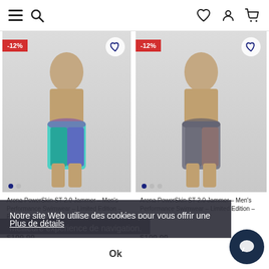Navigation bar with hamburger menu, search, heart, user, and cart icons
[Figure (photo): Male model wearing Arena PowerSkin ST 2.0 Jammer teal/purple map print swimwear with -12% discount badge and heart icon]
Arena PowerSkin ST 2.0 Jammer – Men's Performance Swimwear – Limited Edition – Purple Map
$109.99
$125.00
[Figure (photo): Male model wearing Arena PowerSkin ST 2.0 Jammer grey map print swimwear with -12% discount badge and heart icon]
Arena PowerSkin ST 2.0 Jammer – Men's Performance Swimwear – Limited Edition – Grey Map
$109.99
$125.00
Notre site Web utilise des cookies pour vous offrir une meilleure expérience de navigation.
Plus de détails
Ok